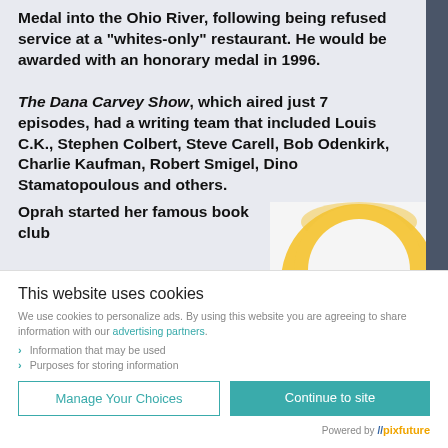Medal into the Ohio River, following being refused service at a "whites-only" restaurant. He would be awarded with an honorary medal in 1996.
The Dana Carvey Show, which aired just 7 episodes, had a writing team that included Louis C.K., Stephen Colbert, Steve Carell, Bob Odenkirk, Charlie Kaufman, Robert Smigel, Dino Stamatopoulous and others.
Oprah started her famous book club
[Figure (illustration): Partial view of a circular yellow/gold graphic element on a light background]
This website uses cookies
We use cookies to personalize ads. By using this website you are agreeing to share information with our advertising partners.
Information that may be used
Purposes for storing information
Manage Your Choices
Continue to site
Powered by //pixfuture